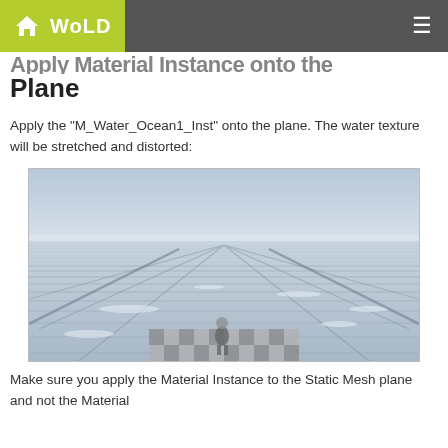WoLD
Apply Material Instance onto the Plane
Apply the "M_Water_Ocean1_Inst" onto the plane. The water texture will be stretched and distorted:
[Figure (screenshot): 3D rendered scene showing a water plane with stretched and distorted texture, viewed from a low angle. A small figure stands on a checkered surface in the foreground. The water surface shows horizontal ripple/wave patterns stretching to the horizon under a grey sky.]
Make sure you apply the Material Instance to the Static Mesh plane and not the Material